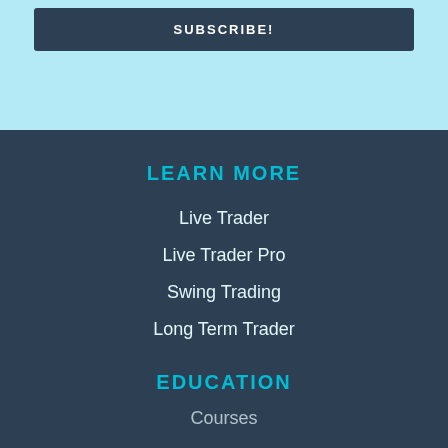SUBSCRIBE!
LEARN MORE
Live Trader
Live Trader Pro
Swing Trading
Long Term Trader
EDUCATION
Courses